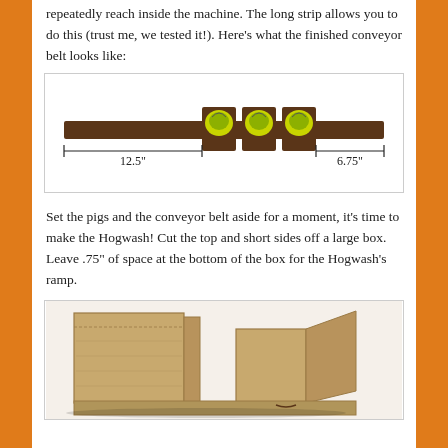repeatedly reach inside the machine. The long strip allows you to do this (trust me, we tested it!). Here's what the finished conveyor belt looks like:
[Figure (photo): Photo of a conveyor belt made from brown cardboard strip with green/yellow objects (pigs) attached in the middle, with dimension annotations showing 12.5" on the left section and 6.75" on the right section.]
Set the pigs and the conveyor belt aside for a moment, it's time to make the Hogwash! Cut the top and short sides off a large box. Leave .75" of space at the bottom of the box for the Hogwash's ramp.
[Figure (photo): Photo of a large cardboard box with top and short sides cut off, showing the remaining structure with flaps, placed on a flat surface. The box preparation is for the Hogwash machine ramp.]